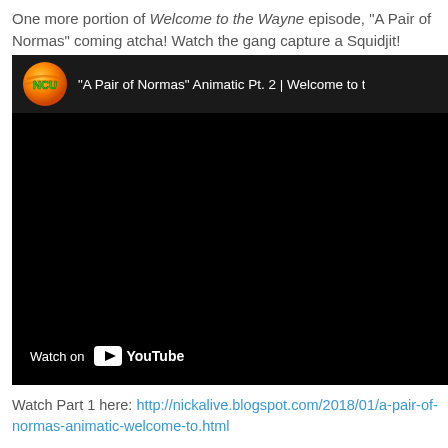One more portion of Welcome to the Wayne episode, "A Pair of Normas" coming atcha! Watch the gang capture a Squidjit!
[Figure (screenshot): YouTube video embed showing '"A Pair of Normas" Animatic Pt. 2 | Welcome to t...' with NCU channel logo (orange/green sphere), black video area, and YouTube 'Watch on' bar at bottom left.]
Watch Part 1 here: http://nickalive.blogspot.com/2018/01/a-pair-of-normas-animatic-welcome-to.html